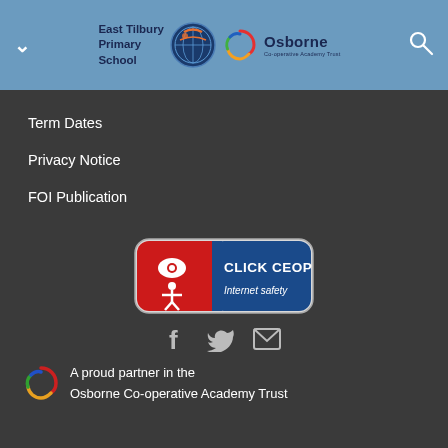East Tilbury Primary School | Osborne Co-operative Academy Trust
Term Dates
Privacy Notice
FOI Publication
[Figure (logo): CLICK CEOP Internet safety badge - red square with white figure icon and eye, blue text panel reading CLICK CEOP, Internet safety]
[Figure (infographic): Social media icons: Facebook f, Twitter bird, envelope/email]
A proud partner in the Osborne Co-operative Academy Trust